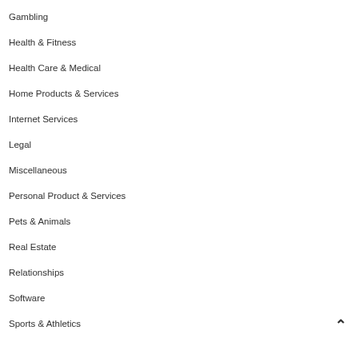Gambling
Health & Fitness
Health Care & Medical
Home Products & Services
Internet Services
Legal
Miscellaneous
Personal Product & Services
Pets & Animals
Real Estate
Relationships
Software
Sports & Athletics
Technology
Travel